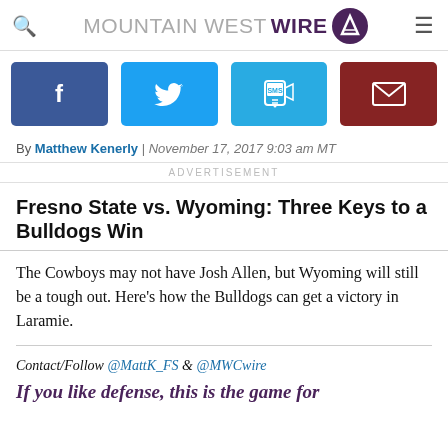MOUNTAIN WEST WIRE
[Figure (infographic): Social share buttons: Facebook, Twitter, SMS, Email]
By Matthew Kenerly | November 17, 2017 9:03 am MT
ADVERTISEMENT
Fresno State vs. Wyoming: Three Keys to a Bulldogs Win
The Cowboys may not have Josh Allen, but Wyoming will still be a tough out. Here’s how the Bulldogs can get a victory in Laramie.
Contact/Follow @MattK_FS & @MWCwire
If you like defense, this is the game for